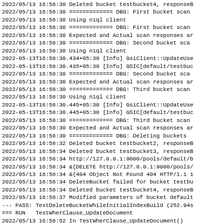2022/05/13 16:58:30 Deleted bucket testbucket4, responseB
2022/05/13 16:58:30 ============= DBG: First bucket scan
2022/05/13 16:58:30 Using n1ql client
2022/05/13 16:58:30 ============= DBG: First bucket scan
2022/05/13 16:58:30 Expected and Actual scan responses ar
2022/05/13 16:58:30 ============= DBG: Second bucket sca
2022/05/13 16:58:30 Using n1ql client
2022-05-13T16:58:30.434+05:30 [Info] GsiClient::UpdateUse
2022-05-13T16:58:30.435+05:30 [Info] GSIC[default/testbuc
2022/05/13 16:58:30 ============= DBG: Second bucket sca
2022/05/13 16:58:30 Expected and Actual scan responses ar
2022/05/13 16:58:30 ============= DBG: Third bucket scan
2022/05/13 16:58:30 Using n1ql client
2022-05-13T16:58:30.445+05:30 [Info] GsiClient::UpdateUse
2022-05-13T16:58:30.445+05:30 [Info] GSIC[default/testbuc
2022/05/13 16:58:30 ============= DBG: Third bucket scan
2022/05/13 16:58:30 Expected and Actual scan responses ar
2022/05/13 16:58:30 ============= DBG: Deleting buckets
2022/05/13 16:58:32 Deleted bucket testbucket2, responseB
2022/05/13 16:58:34 Deleted bucket testbucket3, responseB
2022/05/13 16:58:34 http://127.0.0.1:9000/pools/default/b
2022/05/13 16:58:34 &{DELETE http://127.0.0.1:9000/pools/
2022/05/13 16:58:34 &{404 Object Not Found 404 HTTP/1.1 1
2022/05/13 16:58:34 DeleteBucket failed for bucket testbu
2022/05/13 16:58:34 Deleted bucket testbucket4, responseB
2022/05/13 16:58:37 Modified parameters of bucket default
--- PASS: TestDeleteBucketWhileInitialIndexBuild (252.94s
=== RUN   TestWherClause_UpdateDocument
2022/05/13 16:58:52 In TestWherClause_UpdateDocument()
2022/05/13 16:58:52 In DropAllSecondaryIndexes()
2022/05/13 16:58:52 Index found: bucket1.gsc